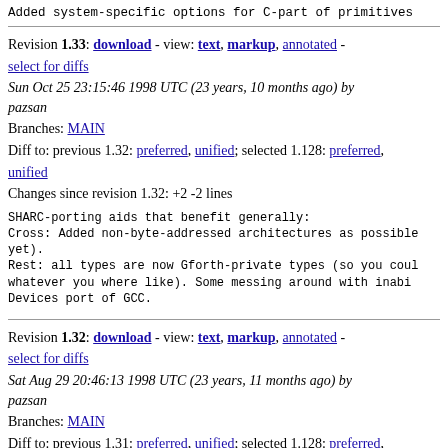Added system-specific options for C-part of primitives
Revision 1.33: download - view: text, markup, annotated - select for diffs
Sun Oct 25 23:15:46 1998 UTC (23 years, 10 months ago) by pazsan
Branches: MAIN
Diff to: previous 1.32: preferred, unified; selected 1.128: preferred, unified
Changes since revision 1.32: +2 -2 lines
SHARC-porting aids that benefit generally:
Cross: Added non-byte-addressed architectures as possible yet).
Rest: all types are now Gforth-private types (so you could whatever you where like). Some messing around with inabi Devices port of GCC.
Revision 1.32: download - view: text, markup, annotated - select for diffs
Sat Aug 29 20:46:13 1998 UTC (23 years, 11 months ago) by pazsan
Branches: MAIN
Diff to: previous 1.31: preferred, unified; selected 1.128: preferred, unified
Changes since revision 1.31: +2 -2 lines